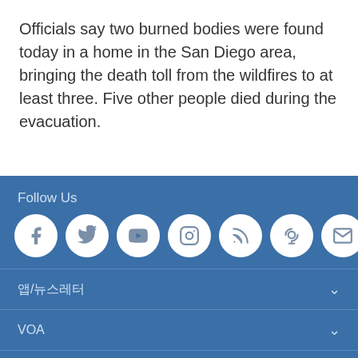Officials say two burned bodies were found today in a home in the San Diego area, bringing the death toll from the wildfires to at least three. Five other people died during the evacuation.
Follow Us | 앱/뉴스레터 | VOA | VOA 한국어 © 2022